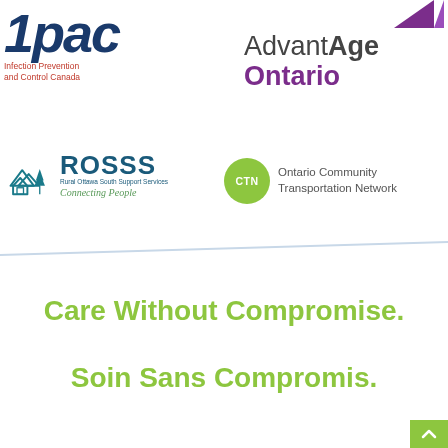[Figure (logo): IPAC - Infection Prevention and Control Canada logo in dark blue italic bold text with red subtitle]
[Figure (logo): AdvantAge Ontario logo in gray and purple with purple triangle accent]
[Figure (logo): ROSSS - Rural Ottawa South Support Services - Connecting People logo with teal house/mountain icon]
[Figure (logo): CTN - Ontario Community Transportation Network logo with green circle and gray text]
Care Without Compromise.
Soin Sans Compromis.